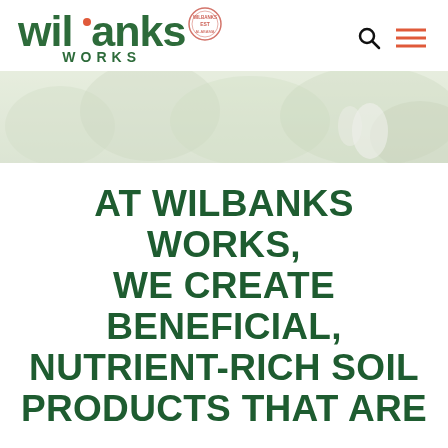[Figure (logo): Wilbanks Works logo: green script 'wilbanks' text with red dot accent, 'WORKS' in green caps below, circular badge stamp top right of logo]
[Figure (photo): Faded outdoor hero banner photo showing green foliage/garden scene with light overlay]
AT WILBANKS WORKS, WE CREATE BENEFICIAL, NUTRIENT-RICH SOIL PRODUCTS THAT ARE